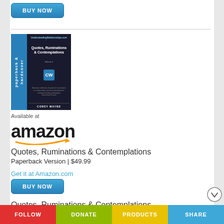[Figure (other): BUY NOW button (blue rounded rectangle) at top of page]
[Figure (other): Book cover for 'Quotes, Ruminations & Contemplations' by Corey Wayne with blue spine labeled 'paperback & hardcover' and dark cover]
Available at
[Figure (logo): Amazon logo with orange arrow]
Quotes, Ruminations & Contemplations
Paperback Version | $49.99
Get it at Amazon.com
[Figure (other): BUY NOW button (blue rounded rectangle)]
Quotes, Ruminations & Contemplations
Hardcover Version | $99.99
Get it at Amazon.com
FOLLOW   DONATE   PRODUCTS   SHARE